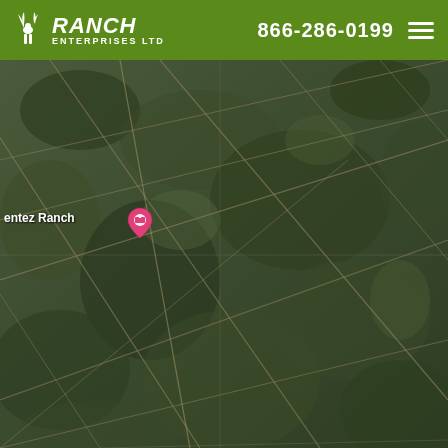Ranch Enterprises Ltd | 866-286-0199
[Figure (map): Aerial satellite map view of the Mentez Ranch property area, showing a rural landscape with dirt roads in a grid pattern, scrub brush and wooded areas visible from above. A pink location pin marker is placed on the map. The label 'entez Ranch' (partially visible) appears near the pin.]